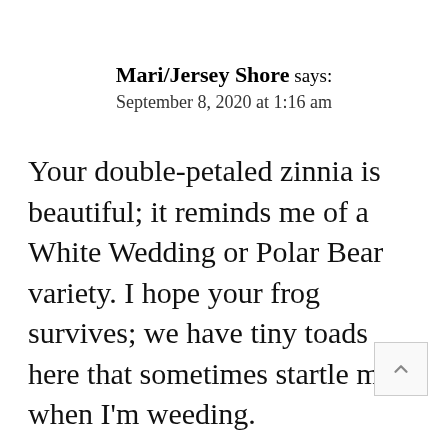Mari/Jersey Shore says:
September 8, 2020 at 1:16 am
Your double-petaled zinnia is beautiful; it reminds me of a White Wedding or Polar Bear variety. I hope your frog survives; we have tiny toads here that sometimes startle me when I'm weeding.
Visited my parents for most of the week. We celebrated family birthdays (with the